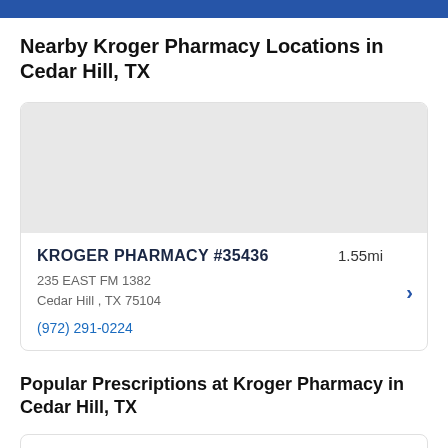Nearby Kroger Pharmacy Locations in Cedar Hill, TX
[Figure (map): Gray map placeholder showing pharmacy location area]
KROGER PHARMACY #35436   1.55mi
235 EAST FM 1382
Cedar Hill , TX 75104
(972) 291-0224
Popular Prescriptions at Kroger Pharmacy in Cedar Hill, TX
Losartan Potassium   $8.17